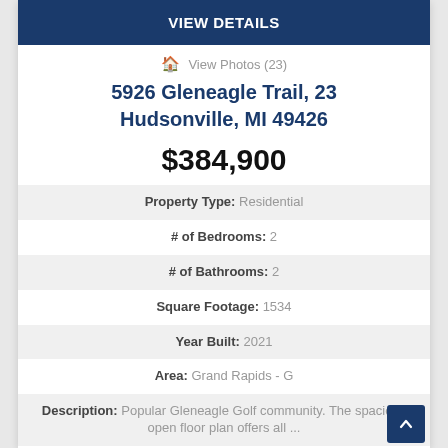VIEW DETAILS
View Photos (23)
5926 Gleneagle Trail, 23 Hudsonville, MI 49426
$384,900
| Property Type: | Residential |
| # of Bedrooms: | 2 |
| # of Bathrooms: | 2 |
| Square Footage: | 1534 |
| Year Built: | 2021 |
| Area: | Grand Rapids - G |
| Description: | Popular Gleneagle Golf community. The spacious open floor plan offers all ... |
| List Agent Full Name: | Scott E Chandler |